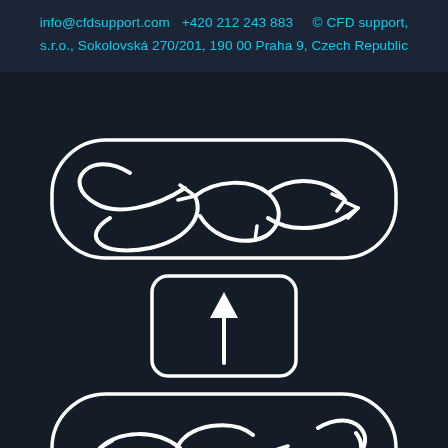info@cfdsupport.com  +420 212 243 883  © CFD support, s.r.o., Sokolovská 270/201, 190 00 Praha 9, Czech Republic
[Figure (schematic): Three engineering diagrams on dark background: top - a wide rounded rectangle containing intertwined swirling flow arrows pointing right (mixing/turbulence icon); middle - a square rounded rectangle with an upward-pointing solid arrow (inlet/outlet icon); bottom - a wide rounded rectangle containing intertwined swirling flow arrows pointing left (reverse mixing/turbulence icon).]